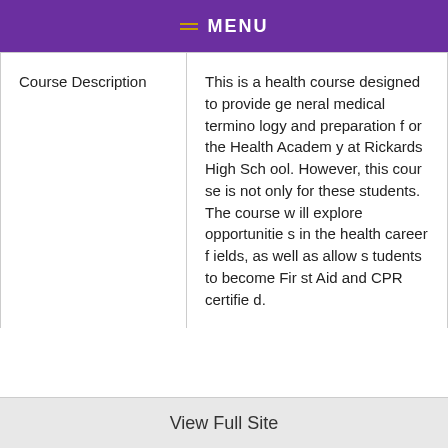MENU
|  |  |
| --- | --- |
| Course Description | This is a health course designed to provide general medical terminology and preparation for the Health Academy at Rickards High School. However, this course is not only for these students. The course will explore opportunities in the health career fields, as well as allow students to become First Aid and CPR certified. |
View Full Site